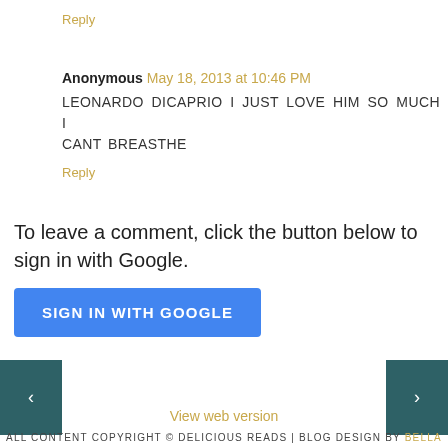Reply
Anonymous May 18, 2013 at 10:46 PM
LEONARDO DICAPRIO I JUST LOVE HIM SO MUCH I CANT BREASTHE
Reply
To leave a comment, click the button below to sign in with Google.
SIGN IN WITH GOOGLE
View web version
ALL CONTENT COPYRIGHT © DELICIOUS READS | BLOG DESIGN BY BELLA LULU INK